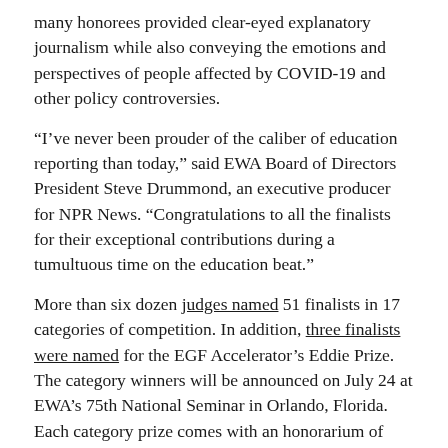many honorees provided clear-eyed explanatory journalism while also conveying the emotions and perspectives of people affected by COVID-19 and other policy controversies.
“I’ve never been prouder of the caliber of education reporting than today,” said EWA Board of Directors President Steve Drummond, an executive producer for NPR News. “Congratulations to all the finalists for their exceptional contributions during a tumultuous time on the education beat.”
More than six dozen judges named 51 finalists in 17 categories of competition. In addition, three finalists were named for the EGF Accelerator’s Eddie Prize. The category winners will be announced on July 24 at EWA’s 75th National Seminar in Orlando, Florida. Each category prize comes with an honorarium of $1,000.
“Our awards ceremony in Orlando will mark the first in-person presentation of EWA awards since 2019,” noted Caroline Hendrie, EWA’s executive director. “We can’t wait for our community to come together to recognize education